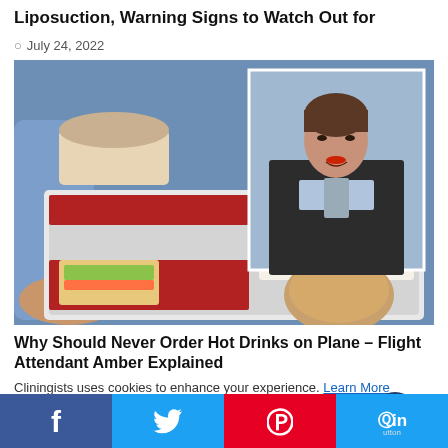Liposuction, Warning Signs to Watch Out for
July 24, 2022
[Figure (photo): Composite image: left side shows a flight attendant's hand holding an airline meal tray with food items including a sandwich, salad, bread roll, and a cup of soup; right side inset shows a female flight attendant in a black blazer smiling at camera inside an aircraft.]
Why Should Never Order Hot Drinks on Plane – Flight Attendant Amber Explained
Cliningists uses cookies to enhance your experience. Learn More
[Figure (other): Chat bubble icon button (dark navy circle with speech bubble icon)]
[Figure (other): Social sharing bar with Facebook (blue), Twitter (light blue), Pinterest (red), and LinkedIn (light blue) buttons with icons]